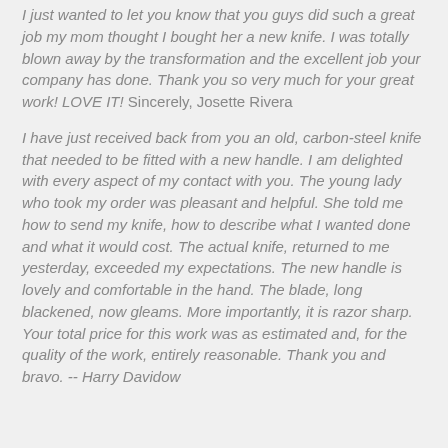I just wanted to let you know that you guys did such a great job my mom thought I bought her a new knife. I was totally blown away by the transformation and the excellent job your company has done. Thank you so very much for your great work! LOVE IT! Sincerely, Josette Rivera
I have just received back from you an old, carbon-steel knife that needed to be fitted with a new handle. I am delighted with every aspect of my contact with you. The young lady who took my order was pleasant and helpful. She told me how to send my knife, how to describe what I wanted done and what it would cost. The actual knife, returned to me yesterday, exceeded my expectations. The new handle is lovely and comfortable in the hand. The blade, long blackened, now gleams. More importantly, it is razor sharp. Your total price for this work was as estimated and, for the quality of the work, entirely reasonable. Thank you and bravo. -- Harry Davidow